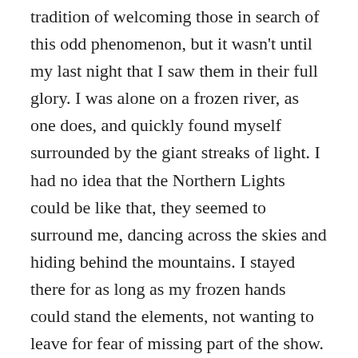tradition of welcoming those in search of this odd phenomenon, but it wasn't until my last night that I saw them in their full glory. I was alone on a frozen river, as one does, and quickly found myself surrounded by the giant streaks of light. I had no idea that the Northern Lights could be like that, they seemed to surround me, dancing across the skies and hiding behind the mountains. I stayed there for as long as my frozen hands could stand the elements, not wanting to leave for fear of missing part of the show. Everyone talks about the Northern Lights and we've all seen photos of them, but it doesn't at all prepare you for the actual experience. Magical is a horrible word to use in travel posts, but it's more than appropriate in this one instance.